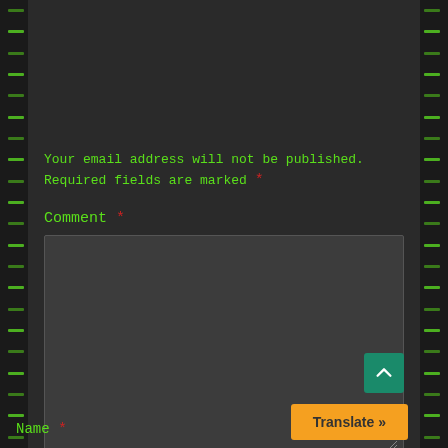Your email address will not be published. Required fields are marked *
Comment *
Name *
[Figure (screenshot): Dark-themed web comment form with green monospace text on dark background, showing notice text, Comment label with red asterisk, a large dark text area input, a Name label with red asterisk at bottom, a teal scroll-to-top button, and an orange Translate button]
Translate »